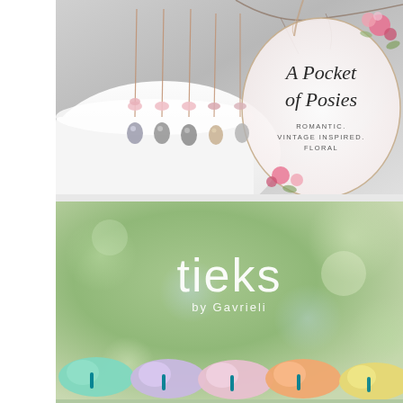[Figure (photo): A Pocket of Posies jewelry brand image. Shows dangling earrings with pink flowers and grey pearls hanging in front of a white ceramic cup. Brand name 'A Pocket of Posies' displayed in elegant script inside an oval wreath with floral watercolor decorations. Tagline: ROMANTIC. VINTAGE INSPIRED. FLORAL.]
[Figure (photo): Tieks by Gavrieli ballet flat shoes brand image. Shows multiple colorful ballet flats (mint, lavender, pink, orange, yellow) lined up with the signature teal Tieks stripe visible. Background is a soft green bokeh. Brand name 'tieks by Gavrieli' displayed in white text.]